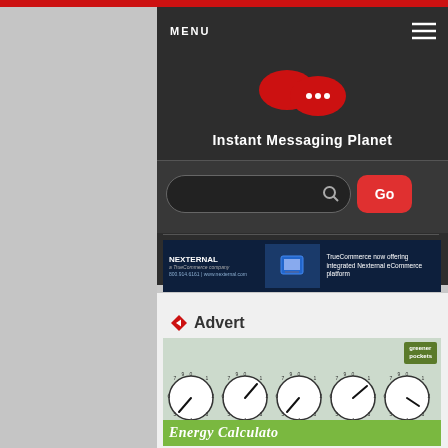[Figure (screenshot): Website screenshot of Instant Messaging Planet with dark header, menu, logo, search bar, navigation, and advert section showing greener pockets energy calculator advertisement]
Instant Messaging Planet
[Figure (screenshot): Nexternal TrueCommerce integrated eCommerce platform banner advertisement]
Advert
[Figure (screenshot): Greener Pockets Energy Calculator advertisement showing analog meter dials]